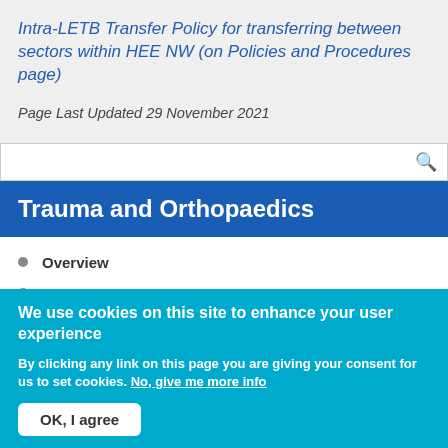Intra-LETB Transfer Policy for transferring between sectors within HEE NW (on Policies and Procedures page)
Page Last Updated 29 November 2021
Trauma and Orthopaedics
Overview
Mersey
We use cookies on this site to enhance your user experience
By clicking any link on this page you are giving your consent for us to set cookies. No, give me more info
OK, I agree